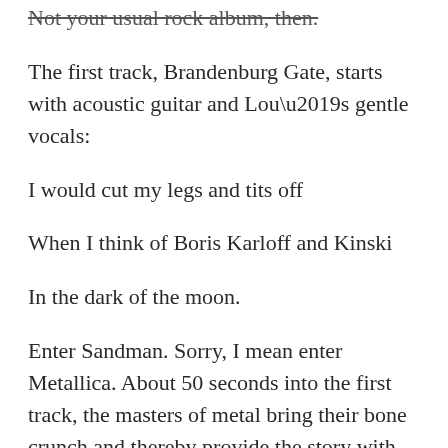Not your usual rock album, then.
The first track, Brandenburg Gate, starts with acoustic guitar and Lou’s gentle vocals:
I would cut my legs and tits off
When I think of Boris Karloff and Kinski
In the dark of the moon.
Enter Sandman. Sorry, I mean enter Metallica. About 50 seconds into the first track, the masters of metal bring their bone crunch and thereby provide the story with an intensity and throbbing that reflects Lulu’s passion for life.
Over the rest of the tracks, Lou’s vocals waver and buckle under the sexual passion, betrayal and murder of Lulu’s lovers. Metallica keep up